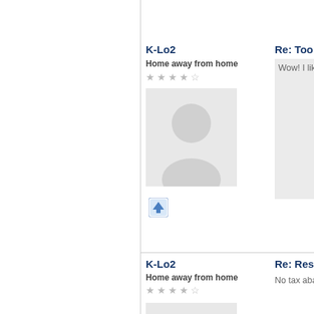K-Lo2
Home away from home
[Figure (illustration): Default user avatar placeholder image - grey silhouette of a person]
[Figure (illustration): Blue upward arrow icon button]
Re: Too late to save o
Wow! I like it!!!
K-Lo2
Home away from home
Re: Residential high-r
No tax abatement is b
[Figure (illustration): Default user avatar placeholder image - grey silhouette of a person]